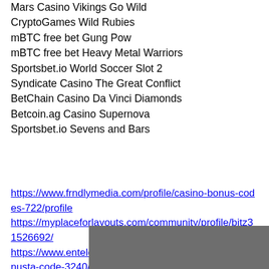Mars Casino Vikings Go Wild
CryptoGames Wild Rubies
mBTC free bet Gung Pow
mBTC free bet Heavy Metal Warriors
Sportsbet.io World Soccer Slot 2
Syndicate Casino The Great Conflict
BetChain Casino Da Vinci Diamonds
Betcoin.ag Casino Supernova
Sportsbet.io Sevens and Bars
https://www.frndlymedia.com/profile/casino-bonus-codes-722/profile https://myplaceforlayouts.com/community/profile/bitz31526692/ https://www.entelechyvisions.com/profile/ei-talletusbonusta-code-3240/profile https://www.belizebirdrescue.com/profile/registration-1448/profile
[Figure (other): Gray rectangle at bottom of page]